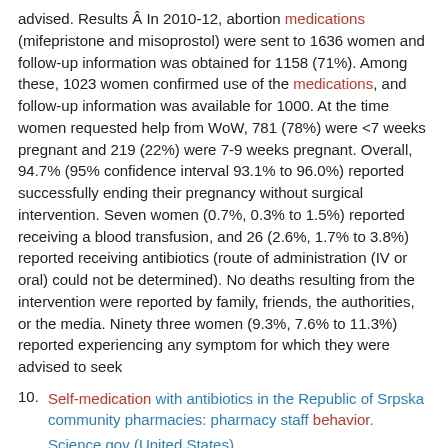advised. Results  In 2010-12, abortion medications (mifepristone and misoprostol) were sent to 1636 women and follow-up information was obtained for 1158 (71%). Among these, 1023 women confirmed use of the medications, and follow-up information was available for 1000. At the time women requested help from WoW, 781 (78%) were <7 weeks pregnant and 219 (22%) were 7-9 weeks pregnant. Overall, 94.7% (95% confidence interval 93.1% to 96.0%) reported successfully ending their pregnancy without surgical intervention. Seven women (0.7%, 0.3% to 1.5%) reported receiving a blood transfusion, and 26 (2.6%, 1.7% to 3.8%) reported receiving antibiotics (route of administration (IV or oral) could not be determined). No deaths resulting from the intervention were reported by family, friends, the authorities, or the media. Ninety three women (9.3%, 7.6% to 11.3%) reported experiencing any symptom for which they were advised to seek
10. Self-medication with antibiotics in the Republic of Srpska community pharmacies: pharmacy staff behavior.
Science.gov (United States)
Marković-Peković, Vanda; Grubića, Nataša